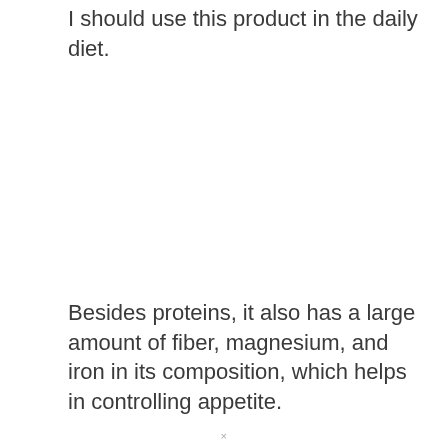I should use this product in the daily diet.
Besides proteins, it also has a large amount of fiber, magnesium, and iron in its composition, which helps in controlling appetite.
×